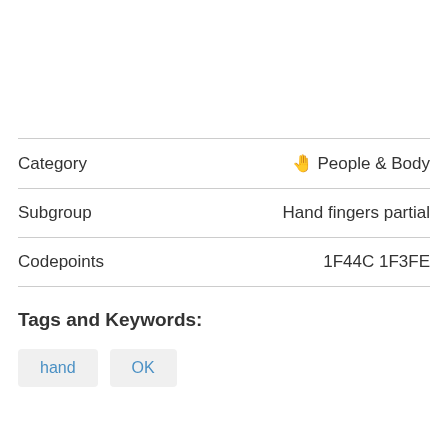| Field | Value |
| --- | --- |
| Category | 🫱 People & Body |
| Subgroup | Hand fingers partial |
| Codepoints | 1F44C 1F3FE |
Tags and Keywords:
hand
OK